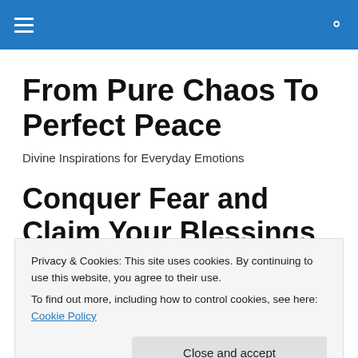From Pure Chaos To Perfect Peace
Divine Inspirations for Everyday Emotions
Conquer Fear and Claim Your Blessings
Privacy & Cookies: This site uses cookies. By continuing to use this website, you agree to their use.
To find out more, including how to control cookies, see here: Cookie Policy
Close and accept